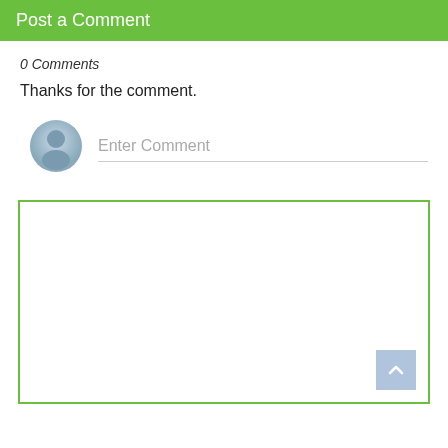Post a Comment
0 Comments
Thanks for the comment.
[Figure (illustration): User avatar icon (grey silhouette person) next to an 'Enter Comment' text input field with a grey bottom border]
[Figure (screenshot): A large white text area box with a green border, containing a scroll-to-top button (blue-grey square with upward chevron) in the bottom-right corner]